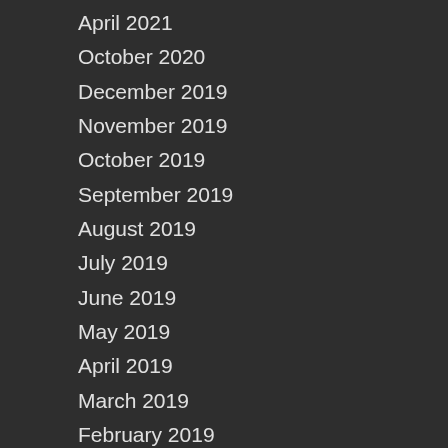April 2021
October 2020
December 2019
November 2019
October 2019
September 2019
August 2019
July 2019
June 2019
May 2019
April 2019
March 2019
February 2019
January 2019
December 2018
November 2018
October 2018